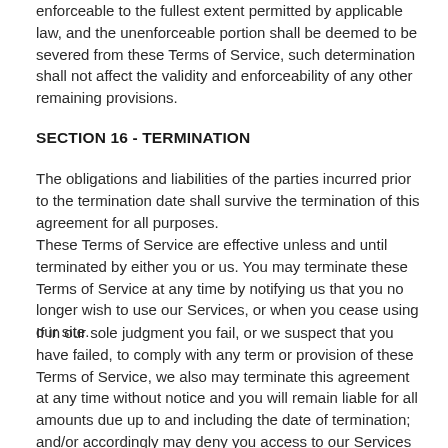enforceable to the fullest extent permitted by applicable law, and the unenforceable portion shall be deemed to be severed from these Terms of Service, such determination shall not affect the validity and enforceability of any other remaining provisions.
SECTION 16 - TERMINATION
The obligations and liabilities of the parties incurred prior to the termination date shall survive the termination of this agreement for all purposes.
These Terms of Service are effective unless and until terminated by either you or us. You may terminate these Terms of Service at any time by notifying us that you no longer wish to use our Services, or when you cease using our site.
If in our sole judgment you fail, or we suspect that you have failed, to comply with any term or provision of these Terms of Service, we also may terminate this agreement at any time without notice and you will remain liable for all amounts due up to and including the date of termination; and/or accordingly may deny you access to our Services (or any part thereof).